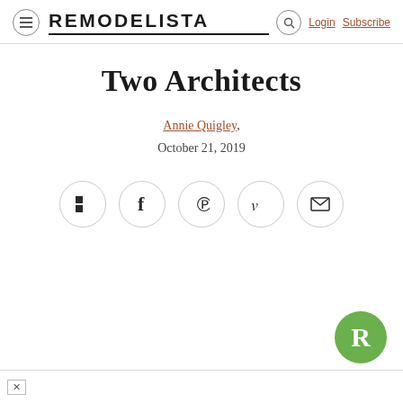REMODELISTA
Two Architects
Annie Quigley, October 21, 2019
[Figure (other): Social sharing buttons row: Flipboard, Facebook, Pinterest, Twitter, Email — each in a circular outlined button]
[Figure (logo): Remodelista circular green badge with white 'R' letter, bottom right corner]